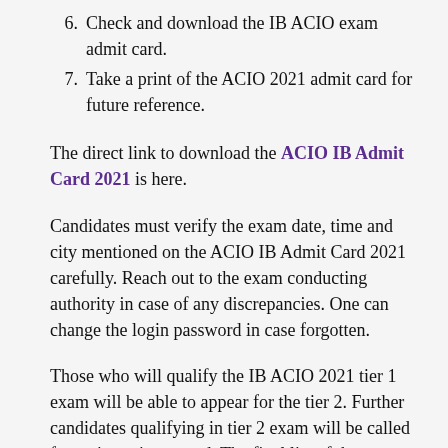6. Check and download the IB ACIO exam admit card.
7. Take a print of the ACIO 2021 admit card for future reference.
The direct link to download the ACIO IB Admit Card 2021 is here.
Candidates must verify the exam date, time and city mentioned on the ACIO IB Admit Card 2021 carefully. Reach out to the exam conducting authority in case of any discrepancies. One can change the login password in case forgotten.
Those who will qualify the IB ACIO 2021 tier 1 exam will be able to appear for the tier 2. Further candidates qualifying in tier 2 exam will be called for an interview round. The final list of the selected candidates for IB ACIO